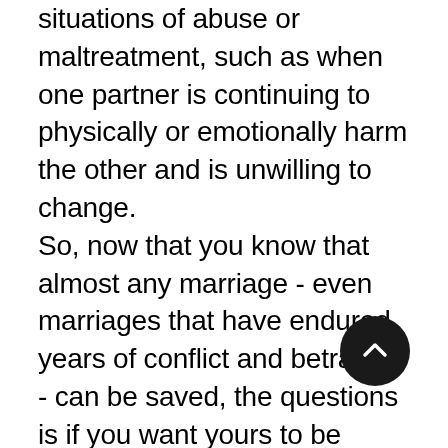situations of abuse or maltreatment, such as when one partner is continuing to physically or emotionally harm the other and is unwilling to change. So, now that you know that almost any marriage - even marriages that have endured years of conflict and betrayals - can be saved, the questions is if you want yours to be saved. Some couples decide that they no longer meet one another's needs and want to move on, and that's their decision to make. Yet, I have learned that couples who want to relearn how to meet one another's needs at any stage can still do so with the